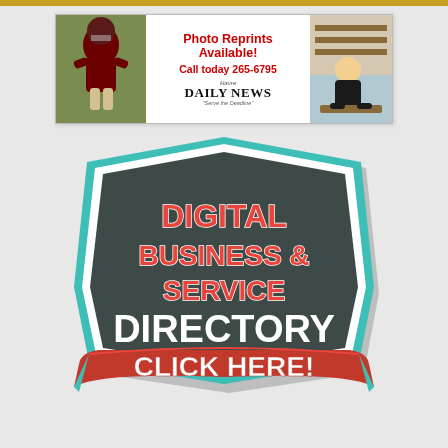[Figure (illustration): Top orange/gold horizontal bar]
[Figure (illustration): Advertisement banner for Havre Daily News Photo Reprints. Shows a football player on the left, center text reading 'Photo Reprints Available! Call today 265-6795' and 'Havre Daily News', and a child at desk on the right.]
[Figure (logo): Digital Business & Service Directory badge/logo with teal border on dark background. Red text: DIGITAL BUSINESS & SERVICE. White text: DIRECTORY. Red ribbon banner at bottom reading CLICK HERE!]